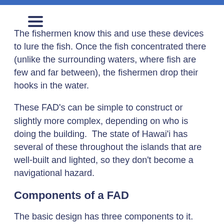The fishermen know this and use these devices to lure the fish. Once the fish concentrated there (unlike the surrounding waters, where fish are few and far between), the fishermen drop their hooks in the water.
These FAD's can be simple to construct or slightly more complex, depending on who is doing the building.  The state of Hawai'i has several of these throughout the islands that are well-built and lighted, so they don't become a navigational hazard.
Components of a FAD
The basic design has three components to it.
First is a large platform. This platform floats on the surface and is covered in some type of tarp or